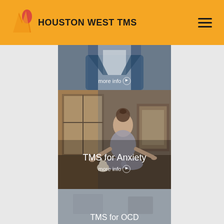HOUSTON WEST TMS
[Figure (photo): Partial view of a person in a denim jacket, cropped at torso level, with a 'more info' link overlay at top]
[Figure (photo): Woman sitting in meditation pose with a white cat in front of her, in a cozy room with framed artwork. Overlay text: TMS for Anxiety, more info]
[Figure (photo): Partial view of a grey/muted photo card beginning to show, with overlay text 'TMS for OCD' at bottom]